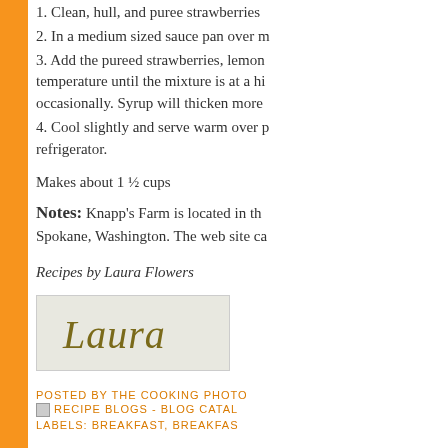1. Clean, hull, and puree strawberries
2. In a medium sized sauce pan over m
3. Add the pureed strawberries, lemon temperature until the mixture is at a hi occasionally. Syrup will thicken more
4. Cool slightly and serve warm over p refrigerator.
Makes about 1 ½ cups
Notes: Knapp's Farm is located in th Spokane, Washington. The web site ca
Recipes by Laura Flowers
[Figure (logo): Handwritten-style 'Laura' signature logo in olive/gold color on a light gray background]
POSTED BY THE COOKING PHOTO
RECIPE BLOGS - BLOG CATAL
LABELS: BREAKFAST, BREAKFAS